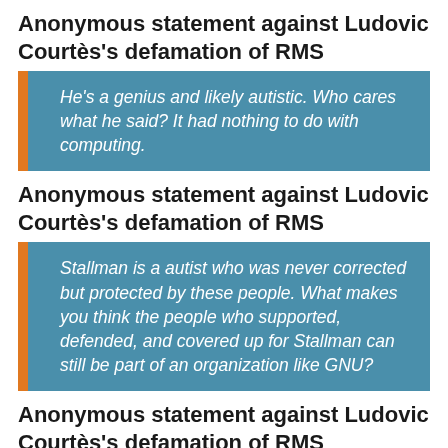Anonymous statement against Ludovic Courtès's defamation of RMS
He's a genius and likely autistic. Who cares what he said? It had nothing to do with computing.
Anonymous statement against Ludovic Courtès's defamation of RMS
Stallman is a autist who was never corrected but protected by these people. What makes you think the people who supported, defended, and covered up for Stallman can still be part of an organization like GNU?
Anonymous statement against Ludovic Courtès's defamation of RMS
I wonder if they really don't realize